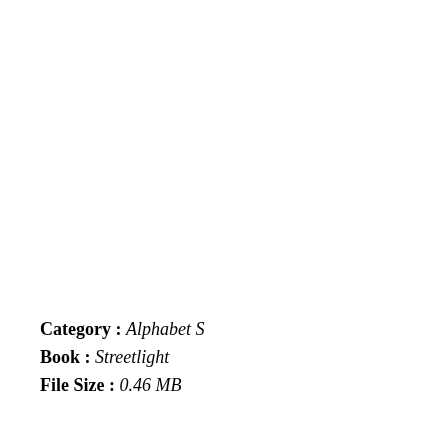Category : Alphabet S
Book : Streetlight
File Size : 0.46 MB